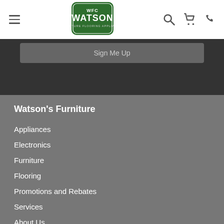[Figure (logo): WFC Watson Furniture Flooring Appliances logo — green badge shape with white text]
Sign Me Up
Watson's Furniture
Appliances
Electronics
Furniture
Flooring
Promotions and Rebates
Services
About Us